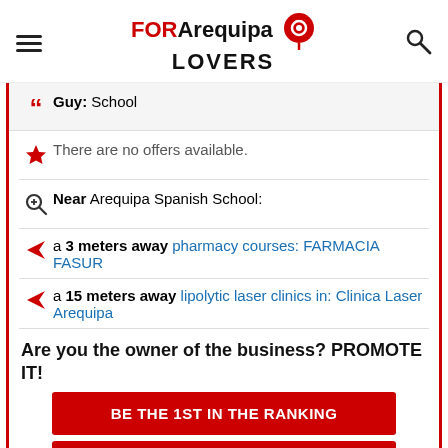FOR Arequipa LOVERS
Guy: School
There are no offers available.
Near Arequipa Spanish School:
a 3 meters away pharmacy courses: FARMACIA FASUR
a 15 meters away lipolytic laser clinics in: Clinica Laser Arequipa
Are you the owner of the business? PROMOTE IT!
BE THE 1ST IN THE RANKING
EXCLUSIVE PAGE